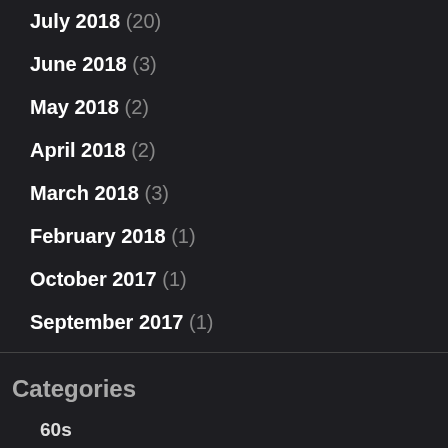July 2018 (20)
June 2018 (3)
May 2018 (2)
April 2018 (2)
March 2018 (3)
February 2018 (1)
October 2017 (1)
September 2017 (1)
Categories
60s
antic
Antifa